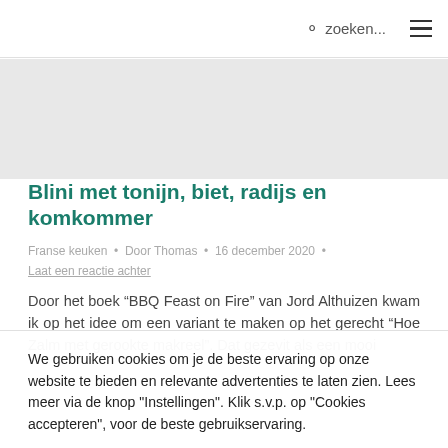zoeken...
[Figure (photo): Gray hero image placeholder area]
Blini met tonijn, biet, radijs en komkommer
Franse keuken • Door Thomas • 16 december 2020 •
Laat een reactie achter
Door het boek “BBQ Feast on Fire” van Jord Althuizen kwam ik op het idee om een variant te maken op het gerecht “Hoe Zalm met gerookte makreel”. Dat gezevit als een mooi...
We gebruiken cookies om je de beste ervaring op onze website te bieden en relevante advertenties te laten zien. Lees meer via de knop "Instellingen". Klik s.v.p. op "Cookies accepteren", voor de beste gebruikservaring.